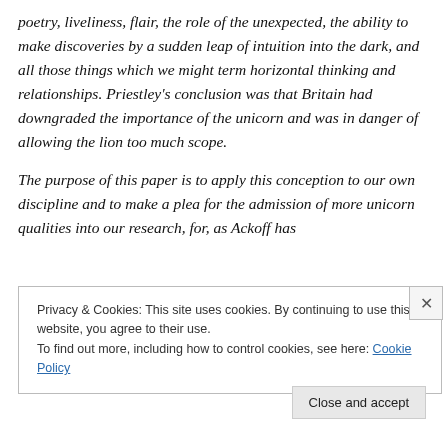poetry, liveliness, flair, the role of the unexpected, the ability to make discoveries by a sudden leap of intuition into the dark, and all those things which we might term horizontal thinking and relationships. Priestley's conclusion was that Britain had downgraded the importance of the unicorn and was in danger of allowing the lion too much scope.

The purpose of this paper is to apply this conception to our own discipline and to make a plea for the admission of more unicorn qualities into our research, for, as Ackoff has
Privacy & Cookies: This site uses cookies. By continuing to use this website, you agree to their use.
To find out more, including how to control cookies, see here: Cookie Policy
Close and accept